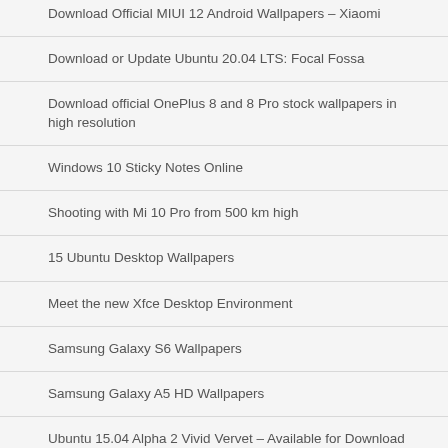Download Official MIUI 12 Android Wallpapers – Xiaomi
Download or Update Ubuntu 20.04 LTS: Focal Fossa
Download official OnePlus 8 and 8 Pro stock wallpapers in high resolution
Windows 10 Sticky Notes Online
Shooting with Mi 10 Pro from 500 km high
15 Ubuntu Desktop Wallpapers
Meet the new Xfce Desktop Environment
Samsung Galaxy S6 Wallpapers
Samsung Galaxy A5 HD Wallpapers
Ubuntu 15.04 Alpha 2 Vivid Vervet – Available for Download